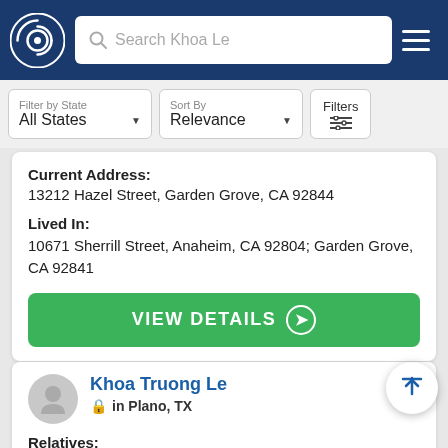Search Khoa Le
Filter by State: All States | Sort By: Relevance | Filters
Current Address:
13212 Hazel Street, Garden Grove, CA 92844

Lived In:
10671 Sherrill Street, Anaheim, CA 92804; Garden Grove, CA 92841
VIEW DETAILS ➤
Khoa Truong Le
in Plano, TX

Relatives:
Dan Ho, Andy Le, Anne Le, Anne Le, Dang Le